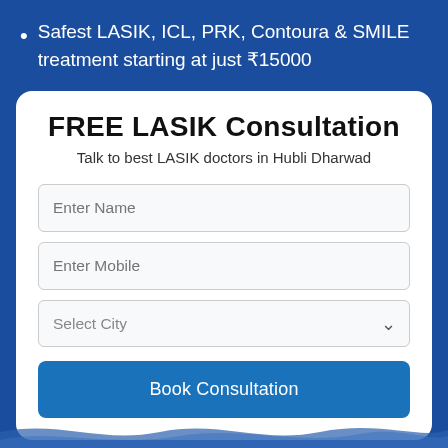Safest LASIK, ICL, PRK, Contoura & SMILE treatment starting at just ₹15000
FREE LASIK Consultation
Talk to best LASIK doctors in Hubli Dharwad
Enter Name
Enter Mobile
Select City
Book Consultation